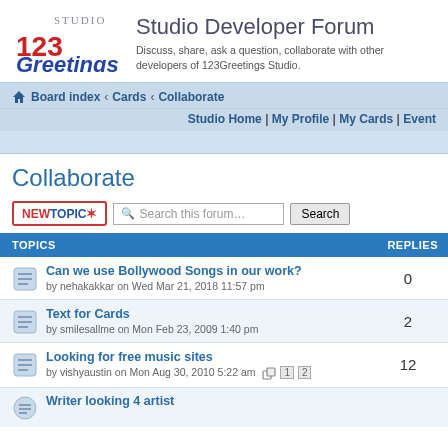[Figure (logo): 123 Greetings Studio logo - red 123 text with blue Greetings, Studio text above]
Studio Developer Forum
Discuss, share, ask a question, collaborate with other developers of 123Greetings Studio.
Board index ‹ Cards ‹ Collaborate
Studio Home | My Profile | My Cards | Event
Collaborate
TOPICS | REPLIES
Can we use Bollywood Songs in our work? by nehakakkar on Wed Mar 21, 2018 11:57 pm — Replies: 0
Text for Cards by smilesallme on Mon Feb 23, 2009 1:40 pm — Replies: 2
Looking for free music sites by vishyaustin on Mon Aug 30, 2010 5:22 am — Replies: 12
Writer looking 4 artist